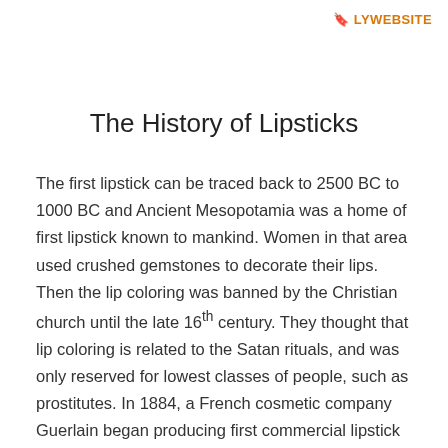🔖 LYWEBSITE
The History of Lipsticks
The first lipstick can be traced back to 2500 BC to 1000 BC and Ancient Mesopotamia was a home of first lipstick known to mankind. Women in that area used crushed gemstones to decorate their lips. Then the lip coloring was banned by the Christian church until the late 16th century. They thought that lip coloring is related to the Satan rituals, and was only reserved for lowest classes of people, such as prostitutes. In 1884, a French cosmetic company Guerlain began producing first commercial lipstick products.  Next in the 1950s, American actresses Marilyn Monroe and Elizabeth Taylor popularized dark red lips. Finally, in the 2000s, the female population around the world accepts lipstick as an integral part of their daily life. They choose colors